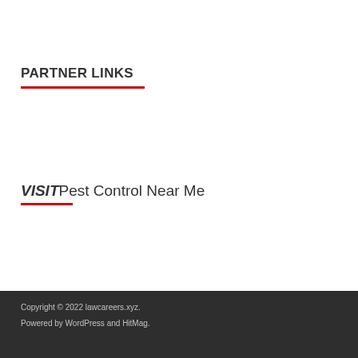PARTNER LINKS
VISITPest Control Near Me
Copyright © 2022 lawcareers.xyz.
Powered by WordPress and HitMag.